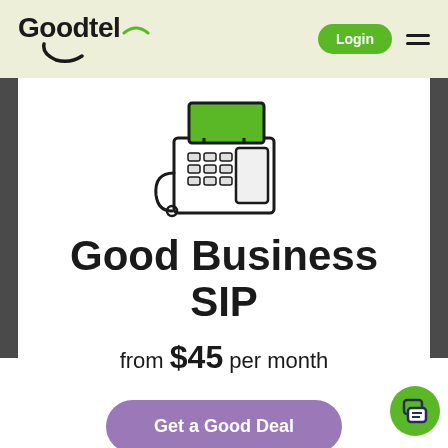Goodtel — Login
[Figure (illustration): Line drawing of a desk telephone/VoIP phone with a green display screen and keypad buttons]
Good Business SIP
from $45 per month
Get a Good Deal